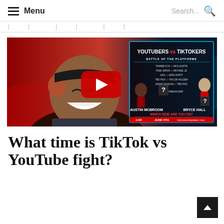Menu   Search...
[ ... breadcrumb navigation links ... ]
[Figure (screenshot): YouTube video thumbnail showing a laughing man with headphones on a red background on the left, and a fight event poster on the right reading 'YOUTUBERS vs TIKTOKERS — BATTLE OF THE PLATFORMS' with matchups listed, AUSTIN MCBROOM vs BRYCE HALL headline, WHICH SIDE ARE YOU ON?, LIVE JUNE 5TH *FOR ENTERTAINMENT ONLY. A YouTube play button overlay is centered on the image.]
What time is TikTok vs YouTube fight?